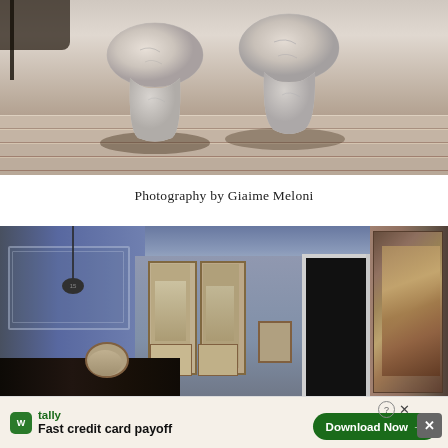[Figure (photo): Two white/grey stone mushroom-shaped sculptures sitting on a light wooden deck, casting shadows, with a dark object partially visible at the top left]
Photography by Giaime Meloni
[Figure (photo): Interior room with white molded walls, ceiling, multiple framed artworks/paintings on walls, a large tapestry on the right wall, dark antique vases at the bottom left, and a dark doorway in the middle]
tally Fast credit card payoff Download Now